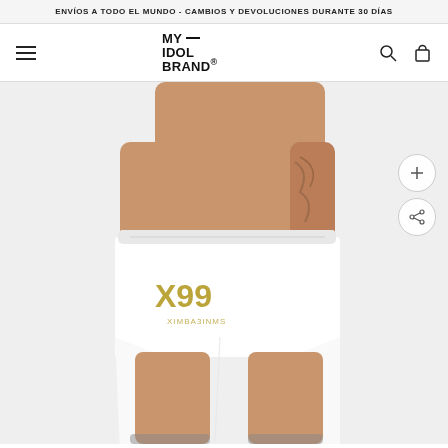ENVÍOS A TODO EL MUNDO - CAMBIOS Y DEVOLUCIONES DURANTE 30 DÍAS
[Figure (logo): MY— IDOL BRAND logo in bold black text]
[Figure (photo): Male model wearing white athletic shorts with golden X99 logo printed on the left thigh. Model is shirtless showing tattoos on right arm. Full body shot from chest to knee level.]
[Figure (other): Zoom/plus button circle icon on right side]
[Figure (other): Share button circle icon on right side]